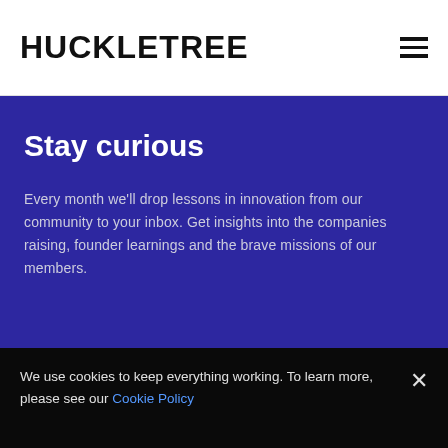HUCKLETREE
Stay curious
Every month we'll drop lessons in innovation from our community to your inbox. Get insights into the companies raising, founder learnings and the brave missions of our members.
We use cookies to keep everything working. To learn more, please see our Cookie Policy